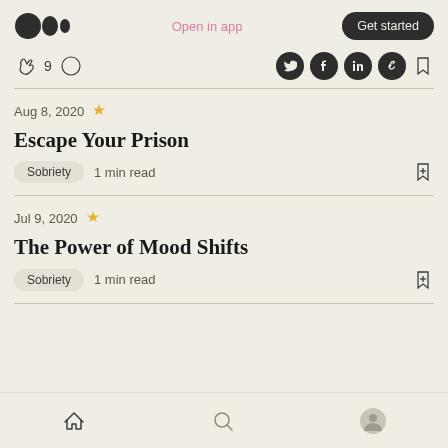Medium — Open in app | Get started
👏 9  💬  [social share icons: Twitter, Facebook, LinkedIn, link, bookmark]
Aug 8, 2020 ✦
Escape Your Prison
Sobriety  1 min read
Jul 9, 2020 ✦
The Power of Mood Shifts
Sobriety  1 min read
Home | Search | Profile